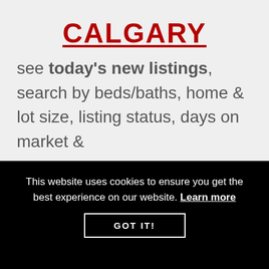CALGARY
see today's new listings, search by beds/baths, home & lot size, listing status, days on market &
This website uses cookies to ensure you get the best experience on our website. Learn more
GOT IT!